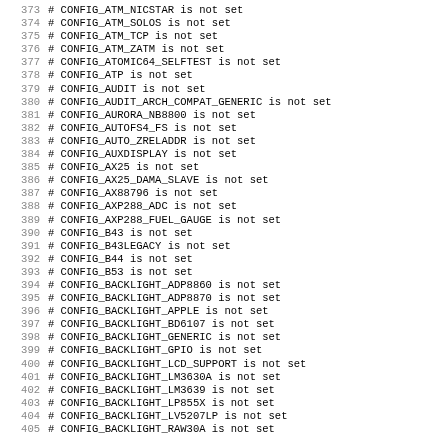373 # CONFIG_ATM_NICSTAR is not set
374 # CONFIG_ATM_SOLOS is not set
375 # CONFIG_ATM_TCP is not set
376 # CONFIG_ATM_ZATM is not set
377 # CONFIG_ATOMIC64_SELFTEST is not set
378 # CONFIG_ATP is not set
379 # CONFIG_AUDIT is not set
380 # CONFIG_AUDIT_ARCH_COMPAT_GENERIC is not set
381 # CONFIG_AURORA_NB8800 is not set
382 # CONFIG_AUTOFS4_FS is not set
383 # CONFIG_AUTO_ZRELADDR is not set
384 # CONFIG_AUXDISPLAY is not set
385 # CONFIG_AX25 is not set
386 # CONFIG_AX25_DAMA_SLAVE is not set
387 # CONFIG_AX88796 is not set
388 # CONFIG_AXP288_ADC is not set
389 # CONFIG_AXP288_FUEL_GAUGE is not set
390 # CONFIG_B43 is not set
391 # CONFIG_B43LEGACY is not set
392 # CONFIG_B44 is not set
393 # CONFIG_B53 is not set
394 # CONFIG_BACKLIGHT_ADP8860 is not set
395 # CONFIG_BACKLIGHT_ADP8870 is not set
396 # CONFIG_BACKLIGHT_APPLE is not set
397 # CONFIG_BACKLIGHT_BD6107 is not set
398 # CONFIG_BACKLIGHT_GENERIC is not set
399 # CONFIG_BACKLIGHT_GPIO is not set
400 # CONFIG_BACKLIGHT_LCD_SUPPORT is not set
401 # CONFIG_BACKLIGHT_LM3630A is not set
402 # CONFIG_BACKLIGHT_LM3639 is not set
403 # CONFIG_BACKLIGHT_LP855X is not set
404 # CONFIG_BACKLIGHT_LV5207LP is not set
405 # CONFIG_BACKLIGHT_RAW30A is not set